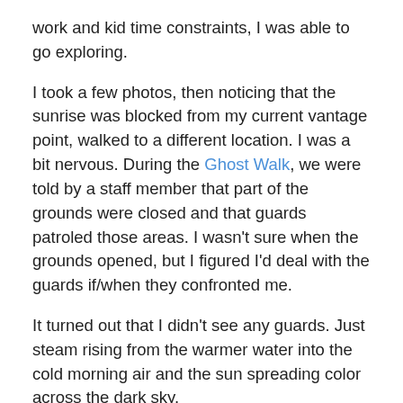work and kid time constraints, I was able to go exploring.
I took a few photos, then noticing that the sunrise was blocked from my current vantage point, walked to a different location.  I was a bit nervous.  During the Ghost Walk, we were told by a staff member that part of the grounds were closed and that guards patroled those areas.  I wasn't sure when the grounds opened, but I figured I'd deal with the guards if/when they confronted me.
It turned out that I didn't see any guards.  Just steam rising from the warmer water into the cold morning air and the sun spreading color across the dark sky.
After taking some photos, I returned to my room to warm up.  I got showered, dressed, and headed back out for some more shots.  After these, I got some breakfast and then headed back to my room again to get into my Tux.  I met up with my friend and the rest of the groomsmen.  Together we walked to meet our ride.  A horse-drawn carriage that